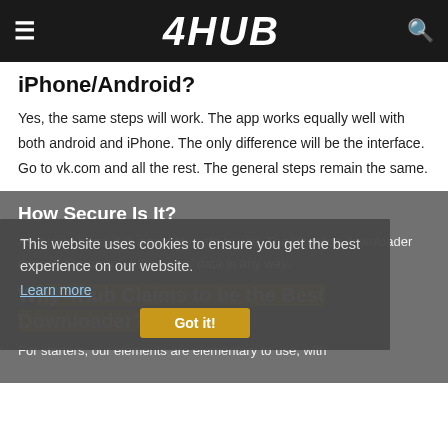4HUB
iPhone/Android?
Yes, the same steps will work. The app works equally well with both android and iPhone. The only difference will be the interface. Go to vk.com and all the rest. The general steps remain the same.
How Secure Is It?
As it uses https, it is incredibly safe to use. The Vk video downloader doesn't compromise the users' data in any way.
This website uses cookies to ensure you get the best experience on our website.
Learn more
Got it!
Why 4Hub Claims to be the Best Downloader?
For starters, our elements are elementary to use, with